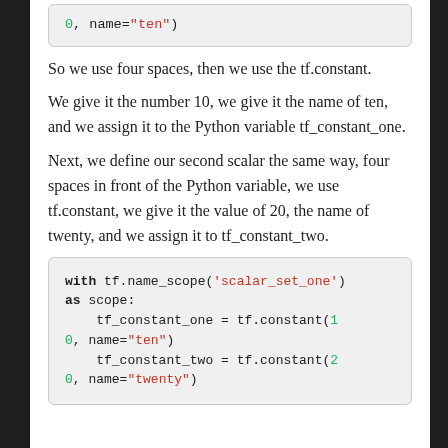[Figure (screenshot): Code block showing partial Python code: 0, name="ten")]
So we use four spaces, then we use the tf.constant.
We give it the number 10, we give it the name of ten, and we assign it to the Python variable tf_constant_one.
Next, we define our second scalar the same way, four spaces in front of the Python variable, we use tf.constant, we give it the value of 20, the name of twenty, and we assign it to tf_constant_two.
[Figure (screenshot): Code block: with tf.name_scope('scalar_set_one') as scope: tf_constant_one = tf.constant(10, name="ten") tf_constant_two = tf.constant(20, name="twenty")]